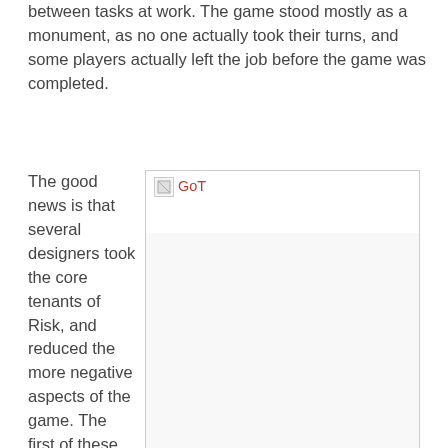between tasks at work. The game stood mostly as a monument, as no one actually took their turns, and some players actually left the job before the game was completed.
The good news is that several designers took the core tenants of Risk, and reduced the more negative aspects of the game. The first of these
[Figure (photo): GoT image placeholder with broken image icon and alt text 'GoT', showing an empty image area for Game of Thrones: The Board Game]
Game of Thrones: The Board Game has a bit more secrecy and betrayal than Risk, hence the card board screens for each player.